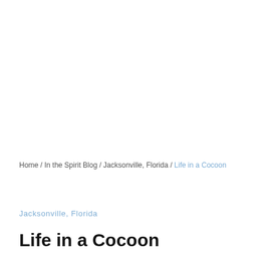Home / In the Spirit Blog / Jacksonville, Florida / Life in a Cocoon
Jacksonville, Florida
Life in a Cocoon